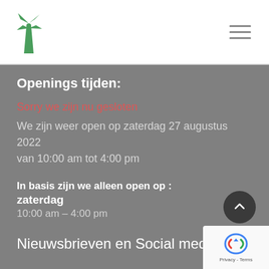[Figure (logo): Green windmill logo icon in top left of header]
[Figure (illustration): Hamburger menu icon (three horizontal lines) in top right of header]
Openings tijden:
Sorry we zijn nu gesloten
We zijn weer open op zaterdag 27 augustus 2022 van 10:00 am tot 4:00 pm
In basis zijn we alleen open op : zaterdag 10:00 am – 4:00 pm
Nieuwsbrieven en Social media.